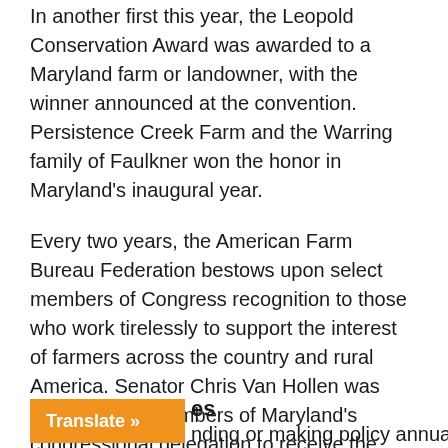In another first this year, the Leopold Conservation Award was awarded to a Maryland farm or landowner, with the winner announced at the convention. Persistence Creek Farm and the Warring family of Faulkner won the honor in Maryland's inaugural year.
Every two years, the American Farm Bureau Federation bestows upon select members of Congress recognition to those who work tirelessly to support the interest of farmers across the country and rural America. Senator Chris Van Hollen was one of seven members of Maryland's congressional delegation to receive the Friend of Farm Bureau award for the 116th Congress. His award was presented in person during the convention.
es
nding or making policy annually